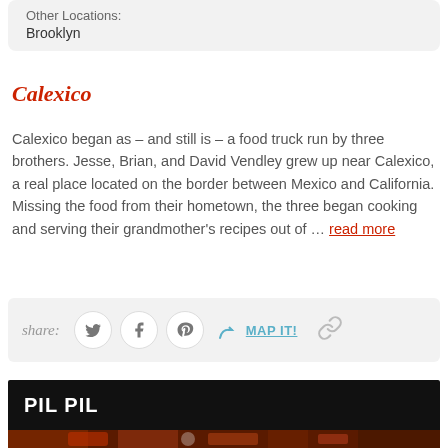Other Locations:
Brooklyn
Calexico
Calexico began as – and still is – a food truck run by three brothers. Jesse, Brian, and David Vendley grew up near Calexico, a real place located on the border between Mexico and California. Missing the food from their hometown, the three began cooking and serving their grandmother's recipes out of … read more
share:
PIL PIL
[Figure (photo): Food photo strip showing colorful dishes]